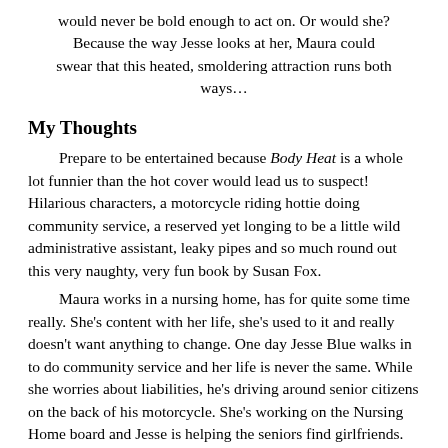would never be bold enough to act on. Or would she? Because the way Jesse looks at her, Maura could swear that this heated, smoldering attraction runs both ways…
My Thoughts
Prepare to be entertained because Body Heat is a whole lot funnier than the hot cover would lead us to suspect! Hilarious characters, a motorcycle riding hottie doing community service, a reserved yet longing to be a little wild administrative assistant, leaky pipes and so much round out this very naughty, very fun book by Susan Fox.
Maura works in a nursing home, has for quite some time really. She's content with her life, she's used to it and really doesn't want anything to change. One day Jesse Blue walks in to do community service and her life is never the same. While she worries about liabilities, he's driving around senior citizens on the back of his motorcycle. She's working on the Nursing Home board and Jesse is helping the seniors find girlfriends.
The differences between the two are very apparent but they have this unmistakable chemistry. Jesse helps Maura become a little less rigid and Maura grounds Jesse. Susan does a wonderful